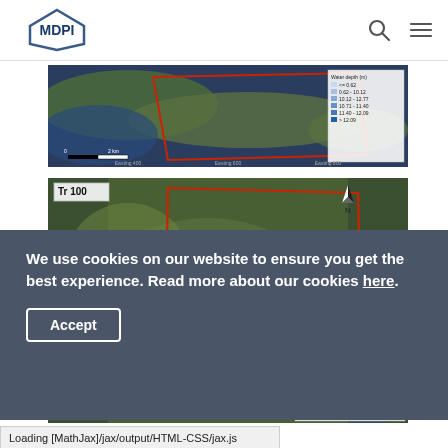MDPI
[Figure (map): Top aerial/satellite map showing coastal area with red polygon boundary and water depth legend on right side]
[Figure (map): Bottom aerial/satellite map labeled 'Tr 100' showing larger inland/coastal area with red polygon boundary, north arrow, and water depth (m) legend on right side]
We use cookies on our website to ensure you get the best experience. Read more about our cookies here.
Accept
Loading [MathJax]/jax/output/HTML-CSS/jax.js